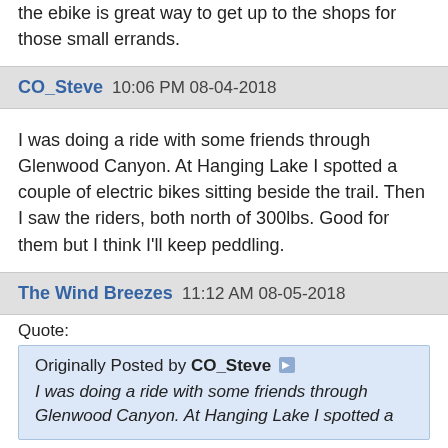the ebike is great way to get up to the shops for those small errands.
CO_Steve 10:06 PM 08-04-2018
I was doing a ride with some friends through Glenwood Canyon. At Hanging Lake I spotted a couple of electric bikes sitting beside the trail. Then I saw the riders, both north of 300lbs. Good for them but I think I'll keep peddling.
The Wind Breezes 11:12 AM 08-05-2018
Quote: Originally Posted by CO_Steve I was doing a ride with some friends through Glenwood Canyon. At Hanging Lake I spotted a